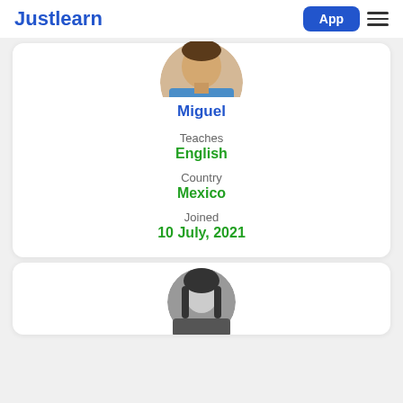Justlearn App
[Figure (photo): Circular profile photo of Miguel, a tutor wearing a blue shirt, partially cropped at top]
Miguel
Teaches
English
Country
Mexico
Joined
10 July, 2021
[Figure (photo): Circular profile photo of a second tutor (woman with dark hair), partially cropped, black and white]